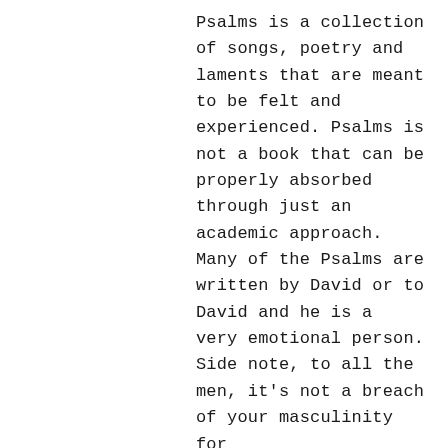Psalms is a collection of songs, poetry and laments that are meant to be felt and experienced. Psalms is not a book that can be properly absorbed through just an academic approach. Many of the Psalms are written by David or to David and he is a very emotional person. Side note, to all the men, it's not a breach of your masculinity for you to display emotions. Now back to the topic. The emotions are there in Psalms because within the five books you'll experience all the ups and down, the seasons and stages of life. Psalms begins with the phrase "Blessed is the Man" and